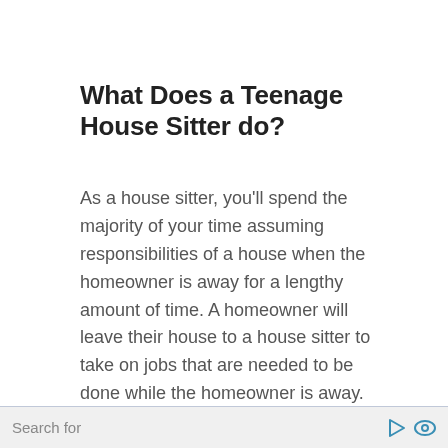What Does a Teenage House Sitter do?
As a house sitter, you'll spend the majority of your time assuming responsibilities of a house when the homeowner is away for a lengthy amount of time. A homeowner will leave their house to a house sitter to take on jobs that are needed to be done while the homeowner is away. For example, you will take care of
Search for